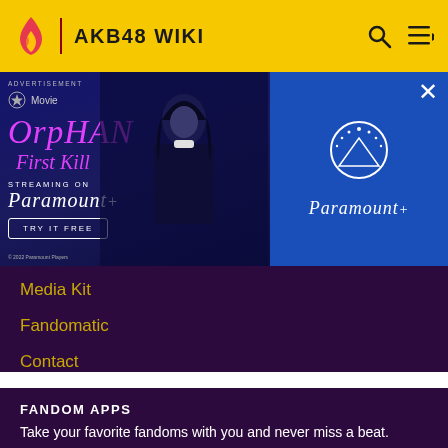AKB48 WIKI
[Figure (screenshot): Advertisement for Orphan: First Kill streaming on Paramount+. Shows movie title in pink text on dark blue background with a figure of a girl, and Paramount+ logo on the right side. Includes 'TRY IT FREE' button.]
Media Kit
Fandomatic
Contact
FANDOM APPS
Take your favorite fandoms with you and never miss a beat.
[Figure (logo): Fandom app icon and app store download buttons for App Store and Google Play]